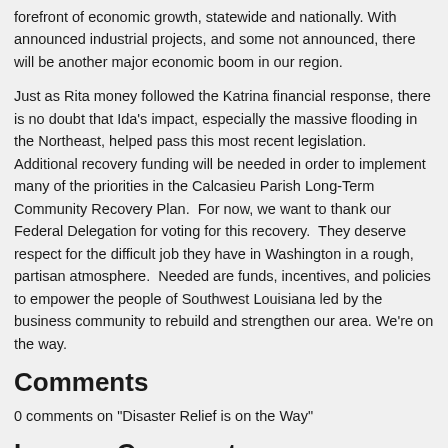forefront of economic growth, statewide and nationally. With announced industrial projects, and some not announced, there will be another major economic boom in our region.
Just as Rita money followed the Katrina financial response, there is no doubt that Ida's impact, especially the massive flooding in the Northeast, helped pass this most recent legislation.  Additional recovery funding will be needed in order to implement many of the priorities in the Calcasieu Parish Long-Term Community Recovery Plan.  For now, we want to thank our Federal Delegation for voting for this recovery.  They deserve respect for the difficult job they have in Washington in a rough, partisan atmosphere.  Needed are funds, incentives, and policies to empower the people of Southwest Louisiana led by the business community to rebuild and strengthen our area.  We're on the way.
Comments
0 comments on "Disaster Relief is on the Way"
Leave a Comment